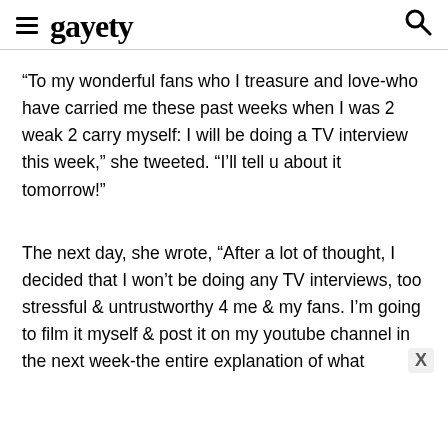gayety
“To my wonderful fans who I treasure and love-who have carried me these past weeks when I was 2 weak 2 carry myself: I will be doing a TV interview this week,” she tweeted. “I’ll tell u about it tomorrow!”
The next day, she wrote, “After a lot of thought, I decided that I won’t be doing any TV interviews, too stressful & untrustworthy 4 me & my fans. I’m going to film it myself & post it on my youtube channel in the next week-the entire explanation of what